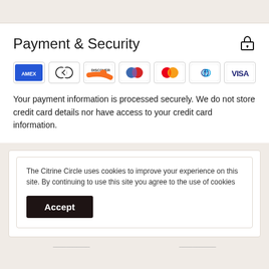Payment & Security
[Figure (logo): Payment method icons: American Express, Diners Club, Discover, Maestro, Mastercard, PayPal, Visa]
Your payment information is processed securely. We do not store credit card details nor have access to your credit card information.
The Citrine Circle uses cookies to improve your experience on this site. By continuing to use this site you agree to the use of cookies
Accept